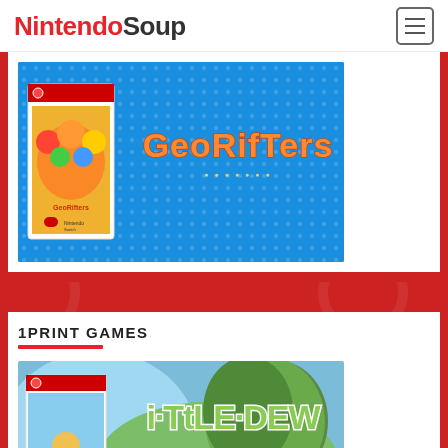NintendoSoup
[Figure (screenshot): Georifters Nintendo Switch game banner with box art on blue dotted background]
1PRINT GAMES
[Figure (screenshot): Ittle Dew Limited Edition Nintendo Switch game banner with box art on nature background]